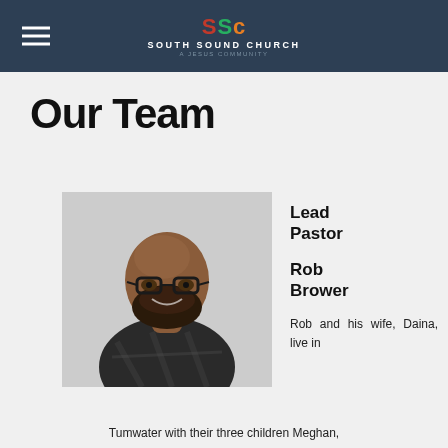South Sound Church
Our Team
[Figure (photo): Headshot of Rob Brower, a man with a bald head, beard, and glasses, wearing a dark plaid shirt, smiling at the camera.]
Lead Pastor
Rob Brower
Rob and his wife, Daina, live in Tumwater with their three children Meghan,